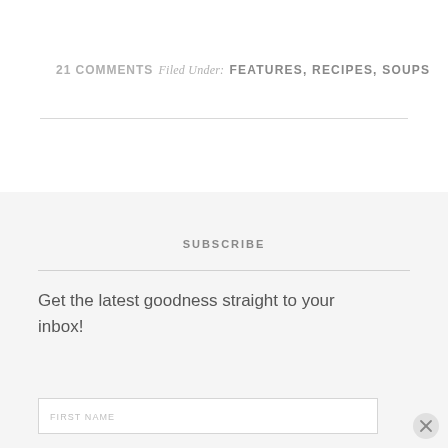21 COMMENTS Filed Under: FEATURES, RECIPES, SOUPS
SUBSCRIBE
Get the latest goodness straight to your inbox!